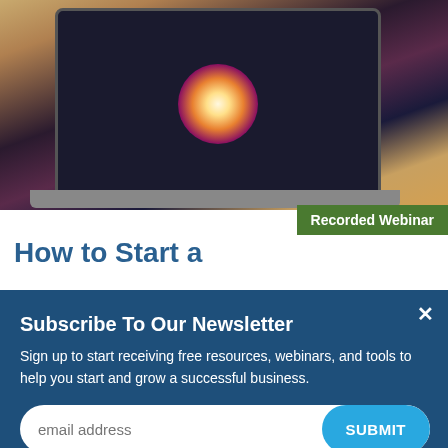[Figure (photo): Laptop computer with glowing digital icons arranged in a circle on its screen, displayed against a blurred warm-toned background.]
Recorded Webinar
How to Start a
Subscribe To Our Newsletter
Sign up to start receiving free resources, webinars, and tools to help you start and grow a successful business.
email address
SUBMIT
marketable talent? In this webinar, you will learn how to take your passion and start a creative business.